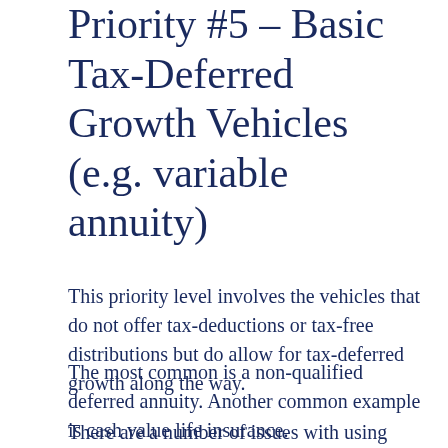Priority #5 – Basic Tax-Deferred Growth Vehicles (e.g. variable annuity)
This priority level involves the vehicles that do not offer tax-deductions or tax-free distributions but do allow for tax-deferred growth along the way.
The most common is a non-qualified deferred annuity. Another common example is cash value life insurance.
There are a number of issues with using these vehicles. First off, although tax-deferral can bring huge economic value, it is generally best realized when paired with tax-deductible contributions or tax-